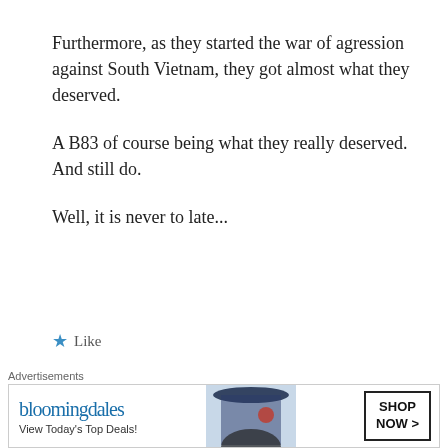Furthermore, as they started the war of agression against South Vietnam, they got almost what they deserved.
A B83 of course being what they really deserved. And still do.
Well, it is never to late...
★ Like
Reply
Russ D
Advertisements
[Figure (screenshot): Bloomingdale's advertisement banner with text 'View Today's Top Deals!' and 'SHOP NOW >']